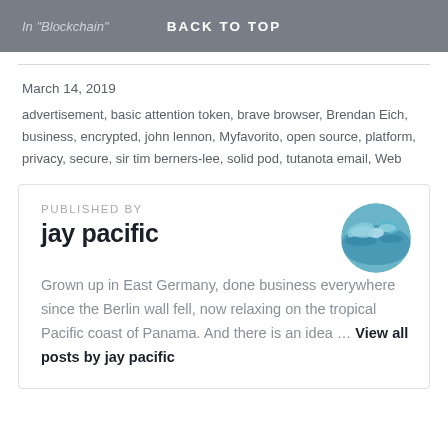In "Blockchain"   BACK TO TOP
March 14, 2019
advertisement, basic attention token, brave browser, Brendan Eich, business, encrypted, john lennon, Myfavorito, open source, platform, privacy, secure, sir tim berners-lee, solid pod, tutanota email, Web
PUBLISHED BY
jay pacific
Grown up in East Germany, done business everywhere since the Berlin wall fell, now relaxing on the tropical Pacific coast of Panama. And there is an idea ... View all posts by jay pacific
[Figure (photo): Circular avatar photo of jay pacific showing aerial view of tropical Pacific coast/island]